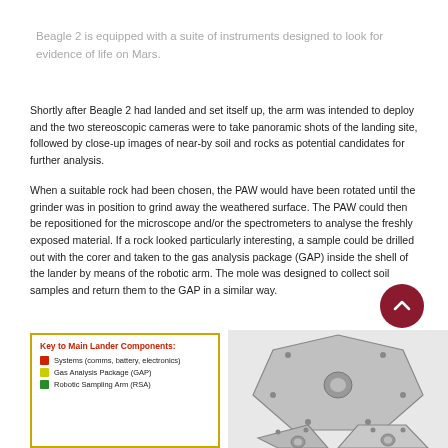Beagle 2 is equipped with a suite of instruments designed to look for evidence of life on Mars.
Shortly after Beagle 2 had landed and set itself up, the arm was intended to deploy and the two stereoscopic cameras were to take panoramic shots of the landing site, followed by close-up images of near-by soil and rocks as potential candidates for further analysis.
When a suitable rock had been chosen, the PAW would have been rotated until the grinder was in position to grind away the weathered surface. The PAW could then be repositioned for the microscope and/or the spectrometers to analyse the freshly exposed material. If a rock looked particularly interesting, a sample could be drilled out with the corer and taken to the gas analysis package (GAP) inside the shell of the lander by means of the robotic arm. The mole was designed to collect soil samples and return them to the GAP in a similar way.
[Figure (infographic): Key to Main Lander Components legend box with colored squares: red for Systems (comms, battery, electronics), yellow for Gas Analysis Package (GAP), green for Robotic Sampling Arm (RSA)]
[Figure (photo): Photograph of Beagle 2 lander panels/petals, grey hexagonal solar panels arranged in a cluster]